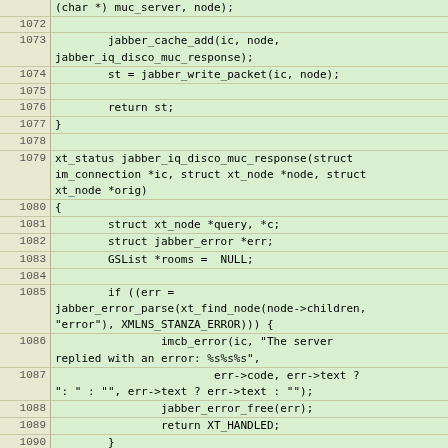[Figure (screenshot): Source code listing in C showing lines 1072-1095 of a Jabber/XMPP MUC (Multi-User Chat) implementation, with line numbers in a beige left column and green-tinted code in the right column.]